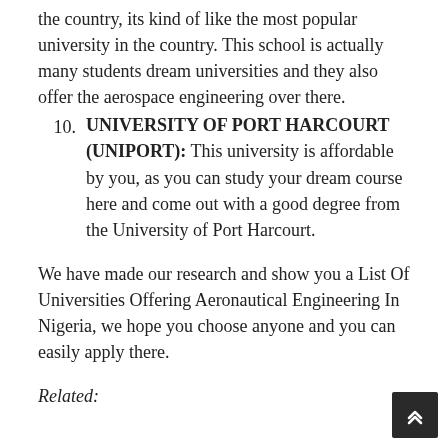the country, its kind of like the most popular university in the country. This school is actually many students dream universities and they also offer the aerospace engineering over there.
10. UNIVERSITY OF PORT HARCOURT (UNIPORT): This university is affordable by you, as you can study your dream course here and come out with a good degree from the University of Port Harcourt.
We have made our research and show you a List Of Universities Offering Aeronautical Engineering In Nigeria, we hope you choose anyone and you can easily apply there.
Related: